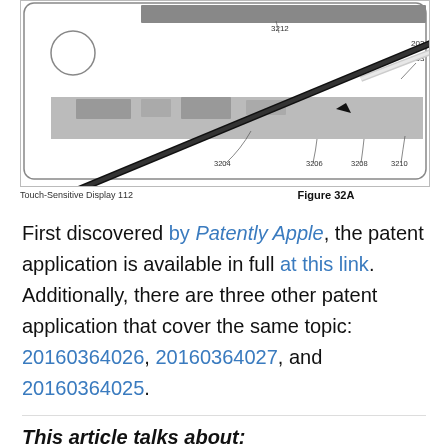[Figure (engineering-diagram): Patent diagram showing a touch-sensitive display with a stylus (labeled 203) and components labeled 3204, 3206, 3208, 3210, 3212. Shows two views of the stylus interacting with the display surface (Figure 32A).]
Touch-Sensitive Display 112    Figure 32A
First discovered by Patently Apple, the patent application is available in full at this link. Additionally, there are three other patent application that cover the same topic: 20160364026, 20160364027, and 20160364025.
This article talks about: